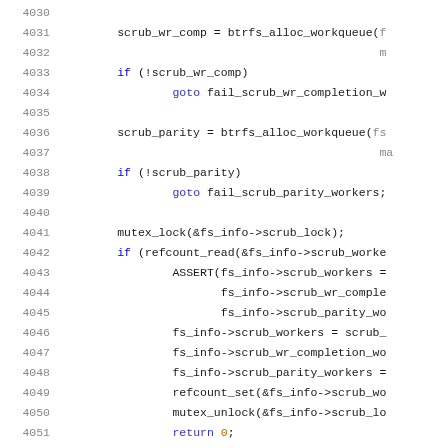[Figure (screenshot): Source code listing showing lines 4030-4051 of a C file, featuring btrfs workqueue allocation and mutex lock operations with scrub-related function calls]